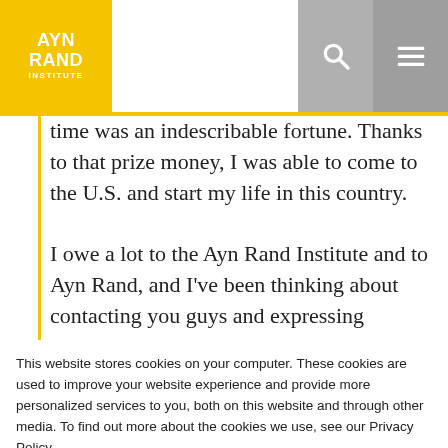AYN RAND INSTITUTE
time was an indescribable fortune. Thanks to that prize money, I was able to come to the U.S. and start my life in this country.

I owe a lot to the Ayn Rand Institute and to Ayn Rand, and I've been thinking about contacting you guys and expressing
This website stores cookies on your computer. These cookies are used to improve your website experience and provide more personalized services to you, both on this website and through other media. To find out more about the cookies we use, see our Privacy Policy.
We won't track your information when you visit our site. But in order to comply with your preferences, we'll have to use just one tiny cookie so that you're not asked to make this choice again.